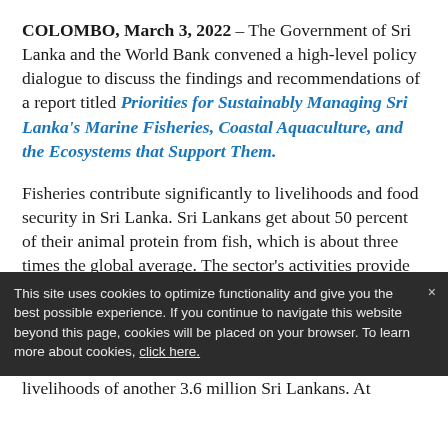COLOMBO, March 3, 2022 – The Government of Sri Lanka and the World Bank convened a high-level policy dialogue to discuss the findings and recommendations of a report titled Priorities for Sustainably Managing Sri Lanka's Marine Fisheries, Coastal Aquaculture, and the Ecosystems that Support Them.
Fisheries contribute significantly to livelihoods and food security in Sri Lanka. Sri Lankans get about 50 percent of their animal protein from fish, which is about three times the global average. The sector's activities provide full or part-time employment to some people and support the livelihoods of another 3.6 million Sri Lankans. At
This site uses cookies to optimize functionality and give you the best possible experience. If you continue to navigate this website beyond this page, cookies will be placed on your browser. To learn more about cookies, click here.